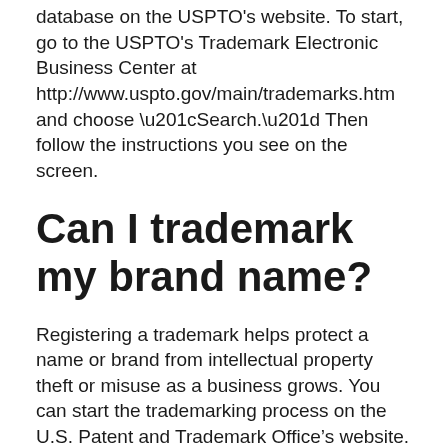database on the USPTO's website. To start, go to the USPTO's Trademark Electronic Business Center at http://www.uspto.gov/main/trademarks.htm and choose “Search.” Then follow the instructions you see on the screen.
Can I trademark my brand name?
Registering a trademark helps protect a name or brand from intellectual property theft or misuse as a business grows. You can start the trademarking process on the U.S. Patent and Trademark Office’s website. The application can be completed fairly quickly, but the entire process may take several months.